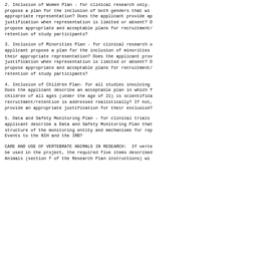2. Inclusion of Women Plan - for clinical research only. propose a plan for the inclusion of both genders that wi appropriate representation? Does the applicant provide ap justification when representation is limited or absent? D propose appropriate and acceptable plans for recruitment/ retention of study participants?
3. Inclusion of Minorities Plan - for clinical research o applicant propose a plan for the inclusion of minorities their appropriate representation? Does the applicant prov justification when representation is limited or absent? D propose appropriate and acceptable plans for recruitment/ retention of study participants?
4. Inclusion of Children Plan- for all studies involving Does the applicant describe an acceptable plan in which f children of all ages (under the age of 21) is scientifica recruitment/retention is addressed realistically? If not, provide an appropriate justification for their exclusion?
5. Data and Safety Monitoring Plan - for clinical trials applicant describe a Data and Safety Monitoring Plan that structure of the monitoring entity and mechanisms for rep Events to the NIH and the IRB?
CARE AND USE OF VERTEBRATE ANIMALS IN RESEARCH:  If verte be used in the project, the required five items described Animals (section f of the Research Plan instructions) wi